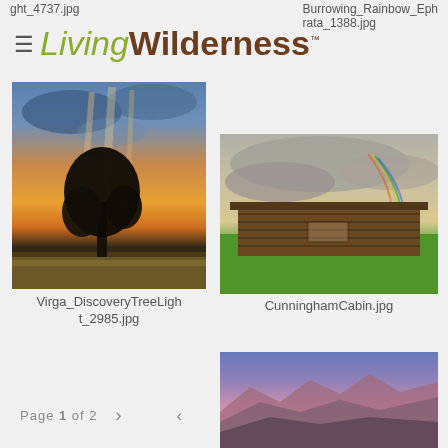ght_4737.jpg   Burrowing_Rainbow_Ephrata_1388.jpg
LivingWilderness™
[Figure (photo): Sunset scene with a lone tree silhouetted against an orange and pink sky with rays of virga light]
Virga_DiscoveryTreeLight_2985.jpg
[Figure (photo): Old log cabin with a rainbow visible in a stormy sky above green fields]
CunninghamCabin.jpg
[Figure (photo): Mountain ridgeline at sunset with pink and purple clouds]
Page 1 of 2